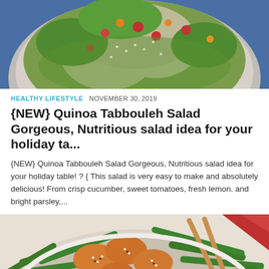[Figure (photo): Overhead view of a quinoa tabbouleh salad in a bowl, with colorful cherry tomatoes and green herbs on a blue background]
HEALTHY LIFESTYLE  NOVEMBER 30, 2019
{NEW} Quinoa Tabbouleh Salad Gorgeous, Nutritious salad idea for your holiday ta...
{NEW} Quinoa Tabbouleh Salad Gorgeous, Nutritious salad idea for your holiday table! ? { This salad is very easy to make and absolutely delicious! From crisp cucumber, sweet tomatoes, fresh lemon. and bright parsley,...
[Figure (photo): Close-up of a bowl containing chicken and green beans stir-fry with sesame seeds and chopsticks resting on top]